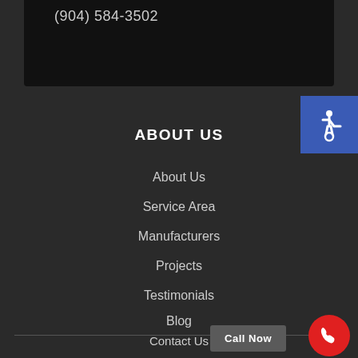(904) 584-3502
[Figure (infographic): Accessibility (wheelchair) icon badge in blue]
ABOUT US
About Us
Service Area
Manufacturers
Projects
Testimonials
Blog
Contact Us
Call Now